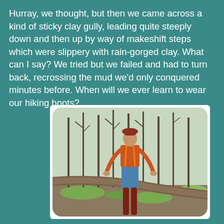Hurray, we thought, but then we came across a kind of sticky clay gully, leading quite steeply down and then up by way of makeshift steps which were slippery with rain-gorged clay. What can I say? We tried but we failed and had to turn back, recrossing the mud we'd only conquered minutes before. When will we ever learn to wear our hiking boots?
[Figure (photo): A woman wearing a red/orange top, blue skirt, reddish-brown hat and tights, standing in a sparse forest with bare trees, leaning against a fallen tree trunk. The forest floor has patches of green moss and brown ground. Trees in the background are bare.]